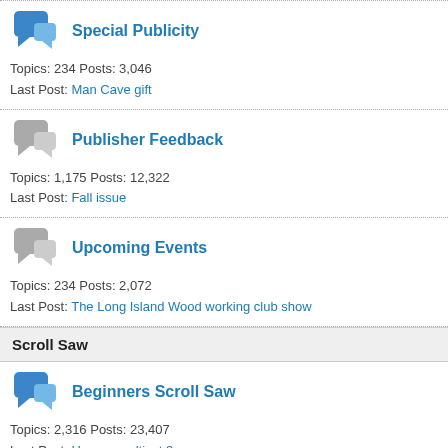Special Publicity
Topics: 234 Posts: 3,046
Last Post: Man Cave gift
Publisher Feedback
Topics: 1,175 Posts: 12,322
Last Post: Fall issue
Upcoming Events
Topics: 234 Posts: 2,072
Last Post: The Long Island Wood working club show
Scroll Saw
Beginners Scroll Saw
Topics: 2,316 Posts: 23,407
Last Post: Hegner multicut 3
General Scroll Saw
Topics: 6,453 Posts: 59,278